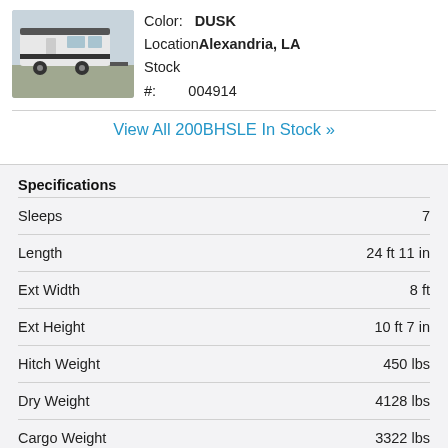[Figure (photo): Photo of a white travel trailer / RV parked outdoors]
Color: DUSK
Location: Alexandria, LA
Stock #: 004914
View All 200BHSLE In Stock »
Specifications
| Specification | Value |
| --- | --- |
| Sleeps | 7 |
| Length | 24 ft 11 in |
| Ext Width | 8 ft |
| Ext Height | 10 ft 7 in |
| Hitch Weight | 450 lbs |
| Dry Weight | 4128 lbs |
| Cargo Weight | 3322 lbs |